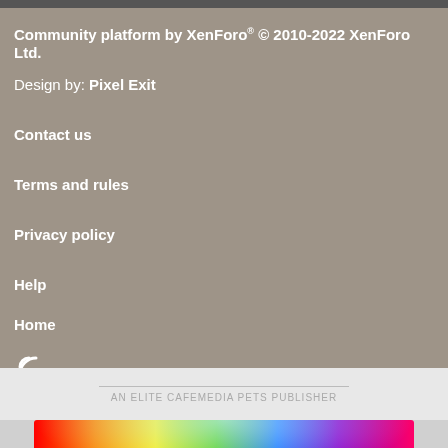Community platform by XenForo® © 2010-2022 XenForo Ltd.
Design by: Pixel Exit
Contact us
Terms and rules
Privacy policy
Help
Home
RSS icon
AN ELITE CAFEMEDIA PETS PUBLISHER
[Figure (illustration): BitLife mobile game advertisement banner with rainbow colors, text 'WHEN REAL LIFE IS QUARANTINED' and BitLife logo with emoji characters]